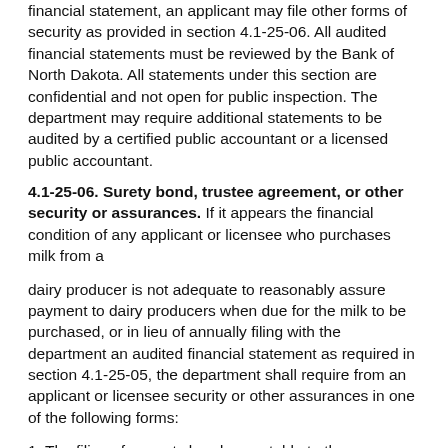financial statement, an applicant may file other forms of security as provided in section 4.1-25-06. All audited financial statements must be reviewed by the Bank of North Dakota. All statements under this section are confidential and not open for public inspection. The department may require additional statements to be audited by a certified public accountant or a licensed public accountant.
4.1-25-06. Surety bond, trustee agreement, or other security or assurances.
If it appears the financial condition of any applicant or licensee who purchases milk from a
dairy producer is not adequate to reasonably assure payment to dairy producers when due for the milk to be purchased, or in lieu of annually filing with the department an audited financial statement as required in section 4.1-25-05, the department shall require from an applicant or licensee security or other assurances in one of the following forms:
1. The filing of a surety bond acceptable to the department. The amount of the surety bond must be determined on the basis of average purchases of milk from dairy producers during the previous year. If payment for milk purchased from dairy producers is made on a weekly basis, the amount of the surety bond must be at least in an amount equal to the